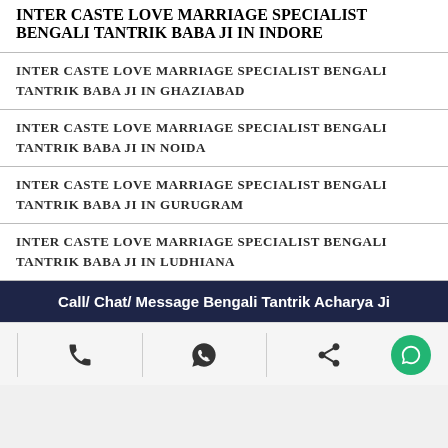INTER CASTE LOVE MARRIAGE SPECIALIST BENGALI TANTRIK BABA JI IN INDORE
INTER CASTE LOVE MARRIAGE SPECIALIST BENGALI TANTRIK BABA JI IN GHAZIABAD
INTER CASTE LOVE MARRIAGE SPECIALIST BENGALI TANTRIK BABA JI IN NOIDA
INTER CASTE LOVE MARRIAGE SPECIALIST BENGALI TANTRIK BABA JI IN GURUGRAM
INTER CASTE LOVE MARRIAGE SPECIALIST BENGALI TANTRIK BABA JI IN LUDHIANA
Call/ Chat/ Message Bengali Tantrik Acharya Ji